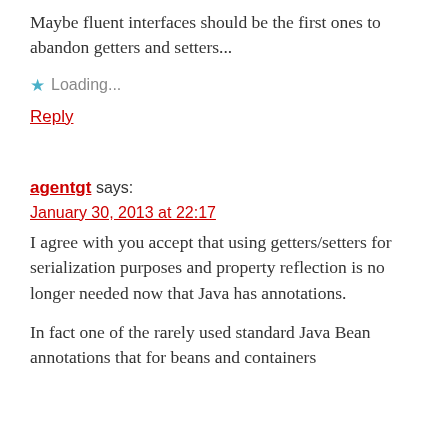Maybe fluent interfaces should be the first ones to abandon getters and setters...
★ Loading...
Reply
agentgt says:
January 30, 2013 at 22:17
I agree with you accept that using getters/setters for serialization purposes and property reflection is no longer needed now that Java has annotations.
In fact one of the rarely used standard Java Bean annotations that for beans and containers...